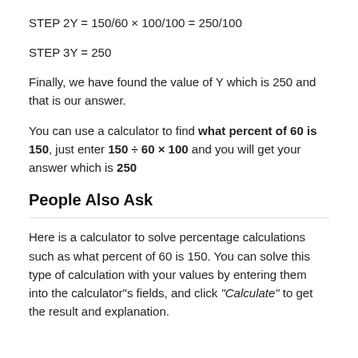STEP 2Y = 150/60 × 100/100 = 250/100
STEP 3Y = 250
Finally, we have found the value of Y which is 250 and that is our answer.
You can use a calculator to find what percent of 60 is 150, just enter 150 ÷ 60 × 100 and you will get your answer which is 250
People Also Ask
Here is a calculator to solve percentage calculations such as what percent of 60 is 150. You can solve this type of calculation with your values by entering them into the calculator"s fields, and click "Calculate" to get the result and explanation.